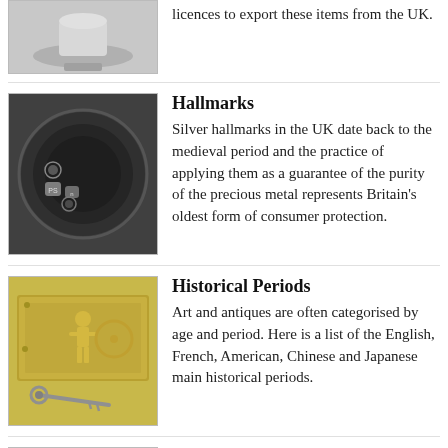licences to export these items from the UK.
[Figure (photo): Silver hallmarks on the bottom of a bowl - black and white photo showing stamped hallmark symbols]
Hallmarks
Silver hallmarks in the UK date back to the medieval period and the practice of applying them as a guarantee of the purity of the precious metal represents Britain's oldest form of consumer protection.
[Figure (photo): Antique brass door lock mechanism with decorative figure, and an old skeleton key below it]
Historical Periods
Art and antiques are often categorised by age and period. Here is a list of the English, French, American, Chinese and Japanese main historical periods.
[Figure (photo): Stack of papers and banknotes related to money laundering topic]
Money Laundering Regulations
The art and antiques sector is often